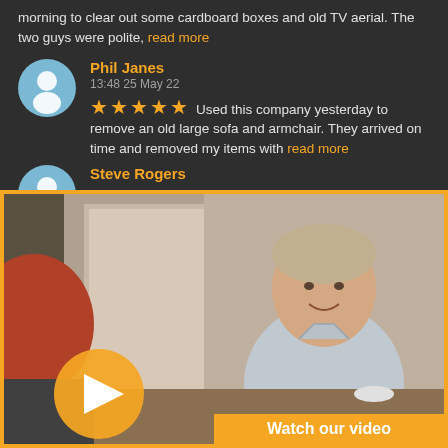morning to clear out some cardboard boxes and old TV aerial. The two guys were polite, read more
Phil Janes
13:48 25 May 22
★★★★★ Used this company yesterday to remove an old large sofa and armchair. They arrived on time and removed my items with read more
Steve Rogers
[Figure (photo): Video thumbnail showing a man in a grey shirt sitting at a desk, smiling, with a play button overlay and 'Watch our video' text at the bottom right. Bordered by a gold/orange frame.]